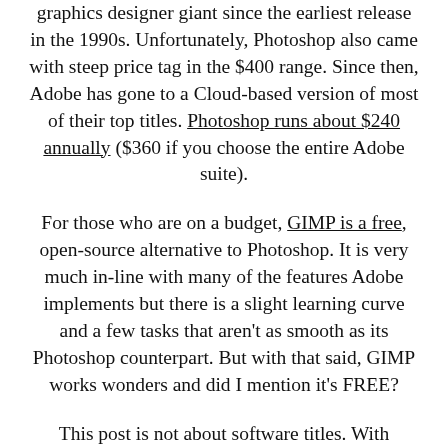graphics designer giant since the earliest release in the 1990s. Unfortunately, Photoshop also came with steep price tag in the $400 range. Since then, Adobe has gone to a Cloud-based version of most of their top titles. Photoshop runs about $240 annually ($360 if you choose the entire Adobe suite).
For those who are on a budget, GIMP is a free, open-source alternative to Photoshop. It is very much in-line with many of the features Adobe implements but there is a slight learning curve and a few tasks that aren't as smooth as its Photoshop counterpart. But with that said, GIMP works wonders and did I mention it's FREE?
This post is not about software titles. With technology stepping up, web-based applications are fast becoming a go-to option. Listed below, in no particular order, are 5 of the top graphics and photo editors available online. Each of them has the features needed to create